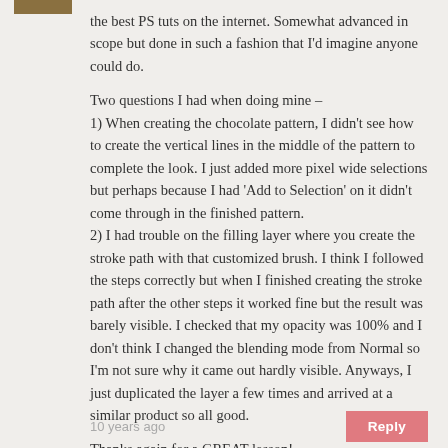the best PS tuts on the internet. Somewhat advanced in scope but done in such a fashion that I'd imagine anyone could do.

Two questions I had when doing mine –
1) When creating the chocolate pattern, I didn't see how to create the vertical lines in the middle of the pattern to complete the look. I just added more pixel wide selections but perhaps because I had 'Add to Selection' on it didn't come through in the finished pattern.
2) I had trouble on the filling layer where you create the stroke path with that customized brush. I think I followed the steps correctly but when I finished creating the stroke path after the other steps it worked fine but the result was barely visible. I checked that my opacity was 100% and I don't think I changed the blending mode from Normal so I'm not sure why it came out hardly visible. Anyways, I just duplicated the layer a few times and arrived at a similar product so all good.

Thanks again for a GREAT lesson!
10 years ago